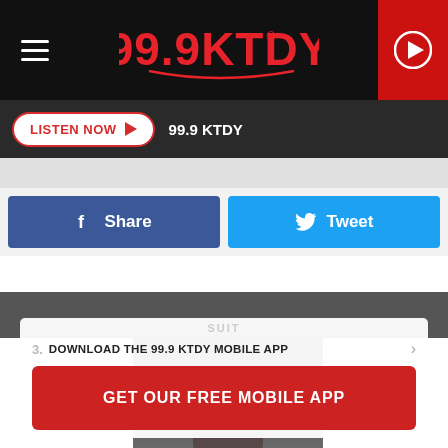99.9 KTDY
LISTEN NOW  99.9 KTDY
f  Share
Tweet
3.  DOWNLOAD THE 99.9 KTDY MOBILE APP
GET OUR FREE MOBILE APP
Also listen on:  amazon alexa